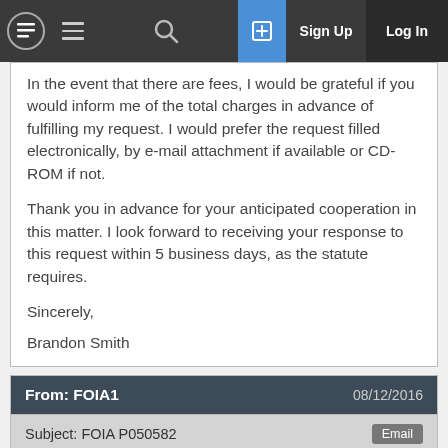Sign Up  Log In
In the event that there are fees, I would be grateful if you would inform me of the total charges in advance of fulfilling my request. I would prefer the request filled electronically, by e-mail attachment if available or CD-ROM if not.
Thank you in advance for your anticipated cooperation in this matter. I look forward to receiving your response to this request within 5 business days, as the statute requires.
Sincerely,
Brandon Smith
| From: FOIA1 | 08/12/2016 |
| --- | --- |
| Subject: FOIA P050582 | Email |
| Good Evening, |  |
Good Evening,